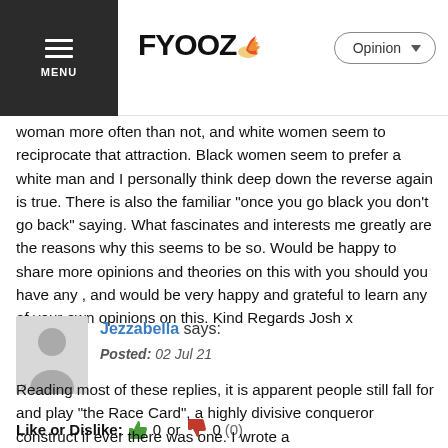FYOOZ — Opinion
woman more often than not, and white women seem to reciprocate that attraction. Black women seem to prefer a white man and I personally think deep down the reverse again is true. There is also the familiar "once you go black you don't go back" saying. What fascinates and interests me greatly are the reasons why this seems to be so. Would be happy to share more opinions and theories on this with you should you have any , and would be very happy and grateful to learn any of your own opinions on this. Kind Regards Josh x
Like or Dislike: 👍 0 or 👎 0 (0)
💬 Reply to this comment
Jezzabella says:
Posted: 02 Jul 21
Reading most of these replies, it is apparent people still fall for and play "the Race Card", a highly divisive conqueror construct if ever there was one. I wrote a